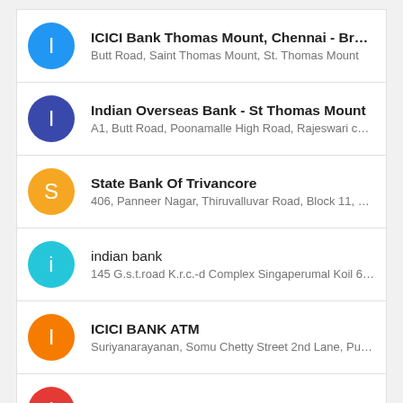ICICI Bank Thomas Mount, Chennai - Branch ...
Butt Road, Saint Thomas Mount, St. Thomas Mount
Indian Overseas Bank - St Thomas Mount
A1, Butt Road, Poonamalle High Road, Rajeswari colony, ...
State Bank Of Trivancore
406, Panneer Nagar, Thiruvalluvar Road, Block 11, Mohanr...
indian bank
145 G.s.t.road K.r.c.-d Complex Singaperumal Koil 603204
ICICI BANK ATM
Suriyanarayanan, Somu Chetty Street 2nd Lane, Puduma...
ICICI BANK ATM